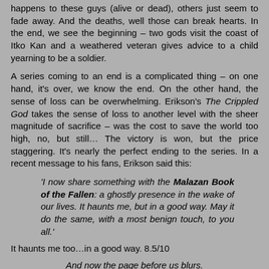happens to these guys (alive or dead), others just seem to fade away. And the deaths, well those can break hearts. In the end, we see the beginning – two gods visit the coast of Itko Kan and a weathered veteran gives advice to a child yearning to be a soldier.
A series coming to an end is a complicated thing – on one hand, it's over, we know the end. On the other hand, the sense of loss can be overwhelming. Erikson's The Crippled God takes the sense of loss to another level with the sheer magnitude of sacrifice – was the cost to save the world too high, no, but still… The victory is won, but the price staggering. It's nearly the perfect ending to the series. In a recent message to his fans, Erikson said this:
'I now share something with the Malazan Book of the Fallen: a ghostly presence in the wake of our lives. It haunts me, but in a good way. May it do the same, with a most benign touch, to you all.'
It haunts me too…in a good way. 8.5/10
And now the page before us blurs.
An age is done. The book must close.